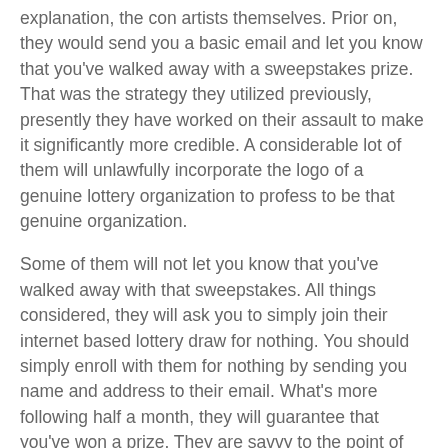explanation, the con artists themselves. Prior on, they would send you a basic email and let you know that you've walked away with a sweepstakes prize. That was the strategy they utilized previously, presently they have worked on their assault to make it significantly more credible. A considerable lot of them will unlawfully incorporate the logo of a genuine lottery organization to profess to be that genuine organization.
Some of them will not let you know that you've walked away with that sweepstakes. All things considered, they will ask you to simply join their internet based lottery draw for nothing. You should simply enroll with them for nothing by sending you name and address to their email. What's more following half a month, they will guarantee that you've won a prize. They are savvy to the point of saying that you didn't win the excellent prize, yet an incidental award as $500 or maybe a more modest prize. That is to make it somewhat more